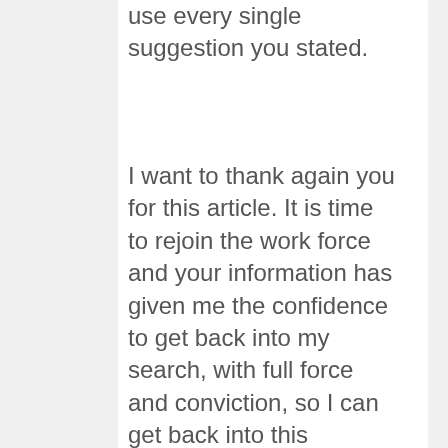use every single suggestion you stated.
I want to thank again you for this article. It is time to rejoin the work force and your information has given me the confidence to get back into my search, with full force and conviction, so I can get back into this competitive profession without delay.